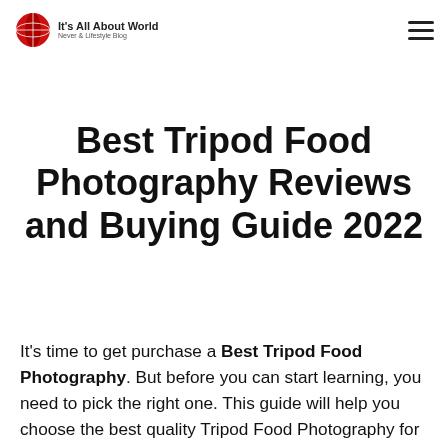It's All About World
Best Tripod Food Photography Reviews and Buying Guide 2022
It's time to get purchase a Best Tripod Food Photography. But before you can start learning, you need to pick the right one. This guide will help you choose the best quality Tripod Food Photography for your needs and goals. We'll recommend a variety of computers based on